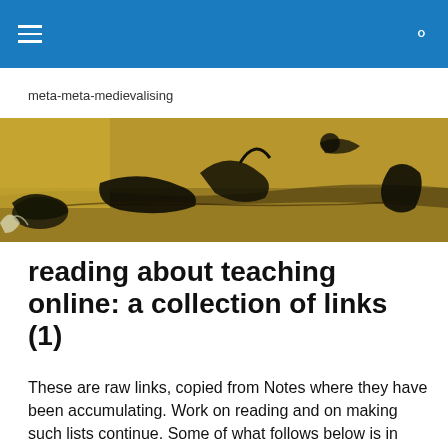meta-meta-medievalising
[Figure (illustration): A panoramic banner image depicting a medieval-style dark painting with fantastical fish-like creatures and human figures in a murky brownish-golden water scene, reminiscent of Hieronymus Bosch artwork.]
reading about teaching online: a collection of links (1)
These are raw links, copied from Notes where they have been accumulating. Work on reading and on making such lists continue. Some of what follows below is in